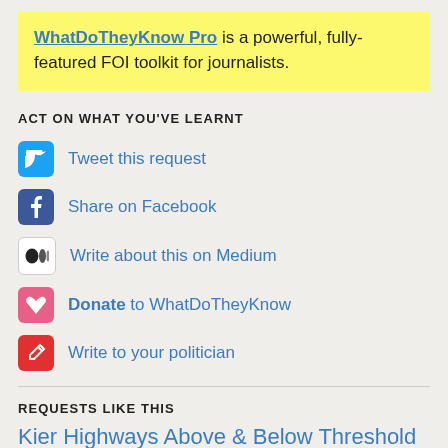WhatDoTheyKnow Pro is a powerful, fully-featured FOI toolkit for journalists.
ACT ON WHAT YOU'VE LEARNT
Tweet this request
Share on Facebook
Write about this on Medium
Donate to WhatDoTheyKnow
Write to your politician
REQUESTS LIKE THIS
Kier Highways Above & Below Threshold pricing for Road Repairs
Transport for London